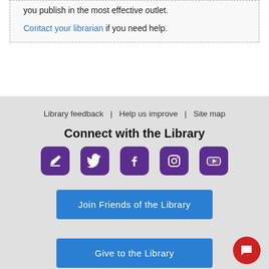you publish in the most effective outlet. Contact your librarian if you need help.
Library feedback  |  Help us improve  |  Site map
Connect with the Library
[Figure (infographic): Five purple rounded-square social media icons: blog/edit, Twitter, Facebook, Instagram, YouTube]
Join Friends of the Library
Give to the Library